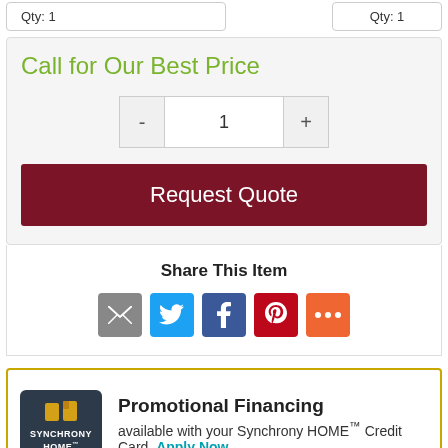Qty: 1
Qty: 1
Call for Our Best Price
1
Request Quote
Share This Item
[Figure (infographic): Social share icons: email (gray), Twitter (blue), Facebook (dark blue), Pinterest (red), More (orange)]
[Figure (infographic): Synchrony HOME credit card promotional financing banner with logo and Apply Now link]